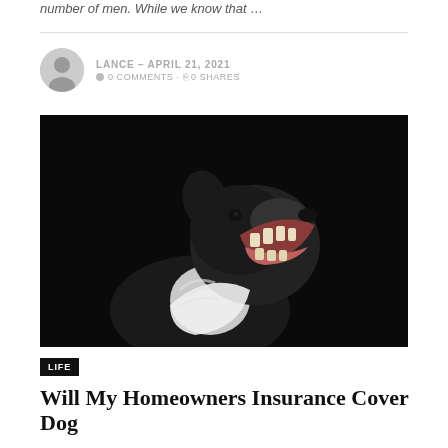number of men. While we know that …
LANCE – APRIL 21, 2021 · 0 COMMENTS · 0 SHARES
[Figure (photo): Close-up photograph of a black and white dog with its mouth wide open, showing teeth, against a dark black background.]
LIFE
Will My Homeowners Insurance Cover Dog